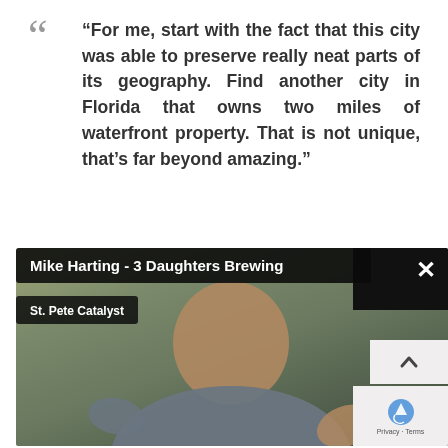"For me, start with the fact that this city was able to preserve really neat parts of its geography. Find another city in Florida that owns two miles of waterfront property. That is not unique, that's far beyond amazing."
[Figure (screenshot): Video screenshot of Mike Harting from 3 Daughters Brewing speaking, with name bar overlay showing 'Mike Harting - 3 Daughters Brewing' and subtitle 'St. Pete Catalyst'. An X close button is in the top-right. A reCAPTCHA badge and scroll button are visible in the bottom-right.]